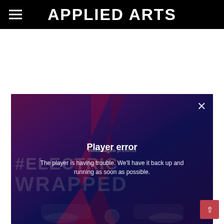APPLIED ARTS
[Figure (screenshot): A video player showing a Volkswagen '#ELECTRIC WRAPPED' advertisement. The player displays an error overlay with the message 'Player error' and 'The player is having trouble. We'll have it back up and running as soon as possible.' A close (X) button is in the upper right corner of the player. A back-to-top arrow button is in the bottom right.]